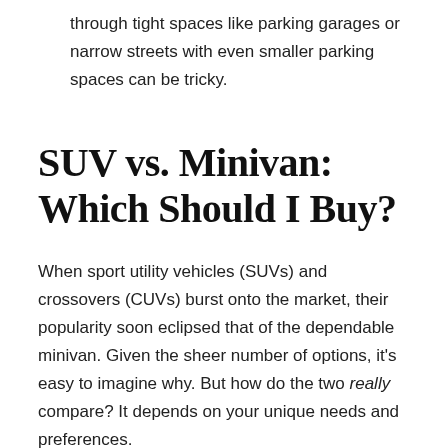through tight spaces like parking garages or narrow streets with even smaller parking spaces can be tricky.
SUV vs. Minivan: Which Should I Buy?
When sport utility vehicles (SUVs) and crossovers (CUVs) burst onto the market, their popularity soon eclipsed that of the dependable minivan. Given the sheer number of options, it's easy to imagine why. But how do the two really compare? It depends on your unique needs and preferences.